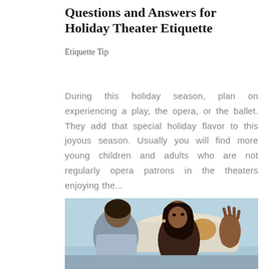Questions and Answers for Holiday Theater Etiquette
Etiquette Tip
During this holiday season, plan on experiencing a play, the opera, or the ballet. They add that special holiday flavor to this joyous season. Usually you will find more young children and adults who are not regularly opera patrons in the theaters enjoying the...
[Figure (photo): A man and woman sitting on a couch in conversation; the woman appears to be gesturing with her hand raised, looking at the man who is facing away from camera.]